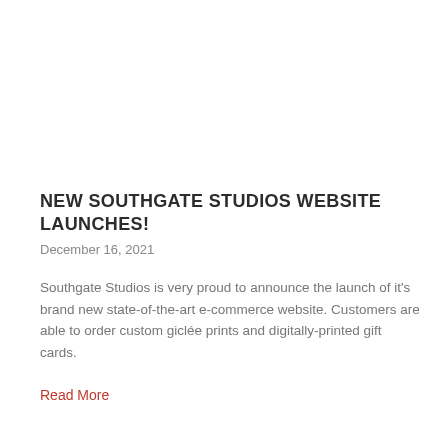NEW SOUTHGATE STUDIOS WEBSITE LAUNCHES!
December 16, 2021
Southgate Studios is very proud to announce the launch of it's brand new state-of-the-art e-commerce website. Customers are able to order custom giclée prints and digitally-printed gift cards.
Read More